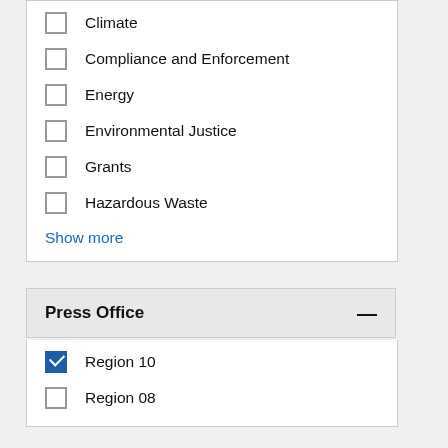Climate
Compliance and Enforcement
Energy
Environmental Justice
Grants
Hazardous Waste
Show more
Press Office
Region 10
Region 08